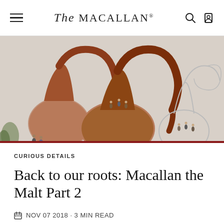The Macallan
[Figure (illustration): Watercolour illustration showing distillery pot stills with reddish-brown curved necks and small figures of people gathered around them on a pale background]
CURIOUS DETAILS
Back to our roots: Macallan the Malt Part 2
NOV 07 2018 · 3 MIN READ